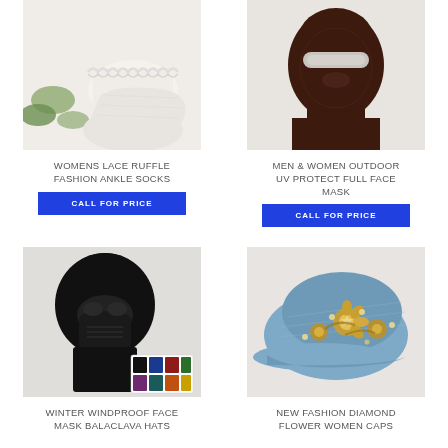[Figure (photo): Womens white lace ruffle ankle socks on a person's feet with white flowers in background]
WOMENS LACE RUFFLE FASHION ANKLE SOCKS
CALL FOR PRICE
[Figure (photo): Dark brown full face mask balaclava with eye and nose openings shown on mannequin head]
MEN & WOMEN OUTDOOR UV PROTECT FULL FACE MASK
CALL FOR PRICE
[Figure (photo): Black winter windproof balaclava full face mask with small inset showing multiple color options]
WINTER WINDPROOF FACE MASK BALACLAVA HATS
[Figure (photo): Light blue denim baseball cap decorated with gold diamond flower embellishments]
NEW FASHION DIAMOND FLOWER WOMEN CAPS